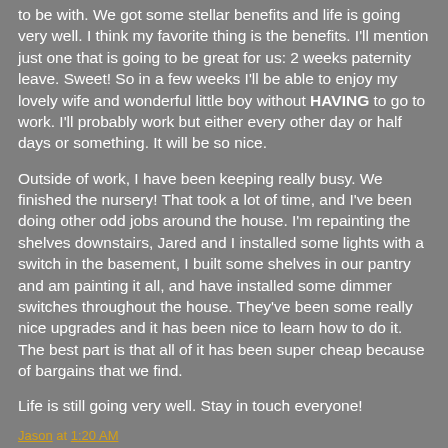to be with. We got some stellar benefits and life is going very well. I think my favorite thing is the benefits. I'll mention just one that is going to be great for us: 2 weeks paternity leave. Sweet! So in a few weeks I'll be able to enjoy my lovely wife and wonderful little boy without HAVING to go to work. I'll probably work but either every other day or half days or something. It will be so nice.
Outside of work, I have been keeping really busy. We finished the nursery! That took a lot of time, and I've been doing other odd jobs around the house. I'm repainting the shelves downstairs, Jared and I installed some lights with a switch in the basement, I built some shelves in our pantry and am painting it all, and have installed some dimmer switches throughout the house. They've been some really nice upgrades and it has been nice to learn how to do it. The best part is that all of it has been super cheap because of bargains that we find.
Life is still going very well. Stay in touch everyone!
Jason at 1:20 AM